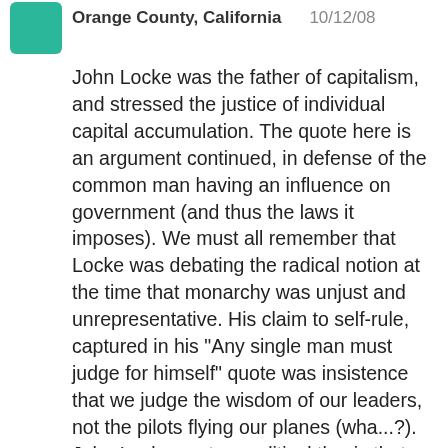Orange County, California    10/12/08
John Locke was the father of capitalism, and stressed the justice of individual capital accumulation. The quote here is an argument continued, in defense of the common man having an influence on government (and thus the laws it imposes). We must all remember that Locke was debating the radical notion at the time that monarchy was unjust and unrepresentative. His claim to self-rule, captured in his "Any single man must judge for himself" quote was insistence that we judge the wisdom of our leaders, not the pilots flying our planes (wha...?). John Locke wrote a political thesis that argued for the dignity of the individual in relation to